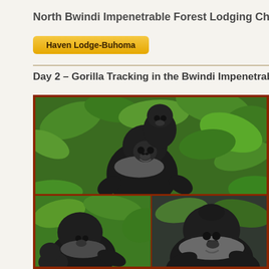North Bwindi Impenetrable Forest Lodging Choices
Haven Lodge-Buhoma
Day 2 – Gorilla Tracking in the Bwindi Impenetrable Forest-
[Figure (photo): Photo collage of mountain gorillas in Bwindi Impenetrable Forest. Top image shows a baby gorilla sitting on the back of an adult gorilla among green tropical foliage. Bottom left shows a gorilla among vegetation. Bottom right shows a large silverback gorilla.]